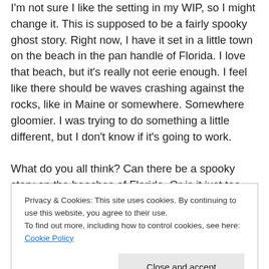I'm not sure I like the setting in my WIP, so I might change it. This is supposed to be a fairly spooky ghost story. Right now, I have it set in a little town on the beach in the pan handle of Florida. I love that beach, but it's really not eerie enough. I feel like there should be waves crashing against the rocks, like in Maine or somewhere. Somewhere gloomier. I was trying to do something a little different, but I don't know if it's going to work.

What do you all think? Can there be a spooky story on the beaches of Florida. Or is it just too sunny and laid back for that?
Privacy & Cookies: This site uses cookies. By continuing to use this website, you agree to their use.
To find out more, including how to control cookies, see here: Cookie Policy
Close and accept